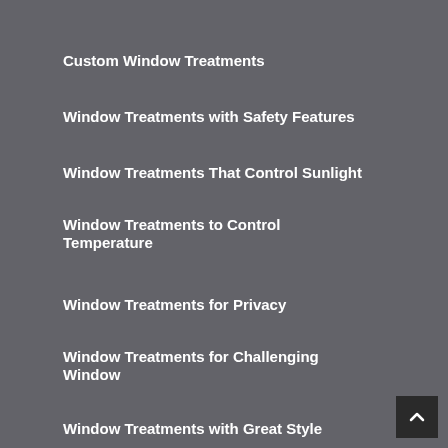Custom Window Treatments
Window Treatments with Safety Features
Window Treatments That Control Sunlight
Window Treatments to Control Temperature
Window Treatments for Privacy
Window Treatments for Challenging Window
Window Treatments with Great Style
Residential Window Treatments